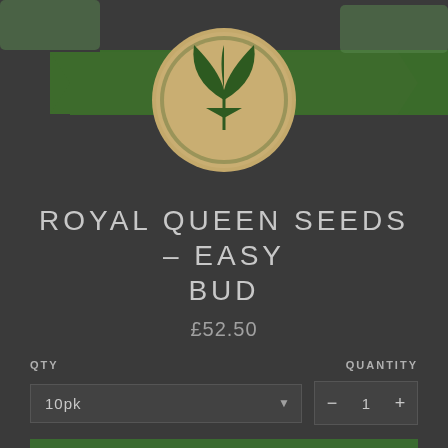[Figure (logo): Royal Queen Seeds logo with green banner and circular emblem featuring a plant/leaf design]
ROYAL QUEEN SEEDS – EASY BUD
£52.50
QTY
QUANTITY
10pk
1
ADD TO CART
Easy Bud